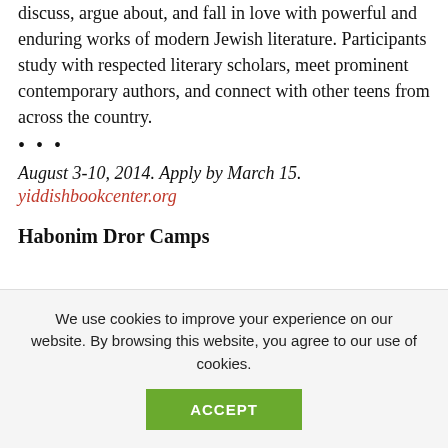discuss, argue about, and fall in love with powerful and enduring works of modern Jewish literature. Participants study with respected literary scholars, meet prominent contemporary authors, and connect with other teens from across the country.
...
August 3-10, 2014. Apply by March 15.
yiddishbookcenter.org
Habonim Dror Camps
We use cookies to improve your experience on our website. By browsing this website, you agree to our use of cookies.
ACCEPT